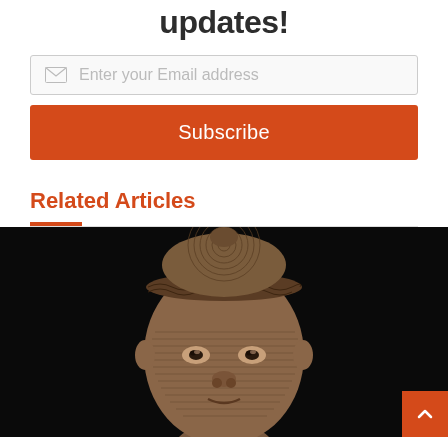updates!
Enter your Email address
Subscribe
Related Articles
[Figure (photo): Close-up photograph of an ancient terracotta or bronze sculpted head with intricate textured patterns on the face and a beaded/woven crown, shot against a black background. The sculpture appears to be of African origin, likely Ife or Yoruba style.]